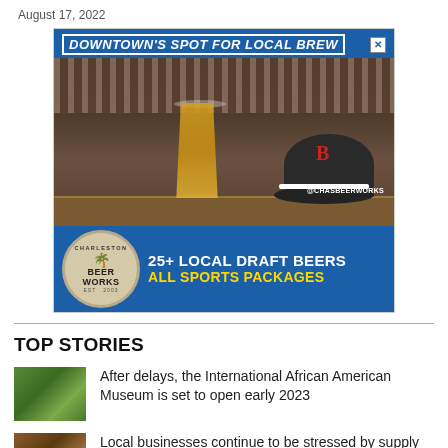August 17, 2022
[Figure (photo): Advertisement for Charleston Beer Works showing a bar interior with beer taps, a pint of beer, and a baseball cap. Text reads: DOWNTOWN'S SPOT FOR LOCAL BREW, @CHASBEERWORKS, 25+ LOCAL DRAFT BEERS, ALL SPORTS PACKAGES]
TOP STORIES
After delays, the International African American Museum is set to open early 2023
Local businesses continue to be stressed by supply